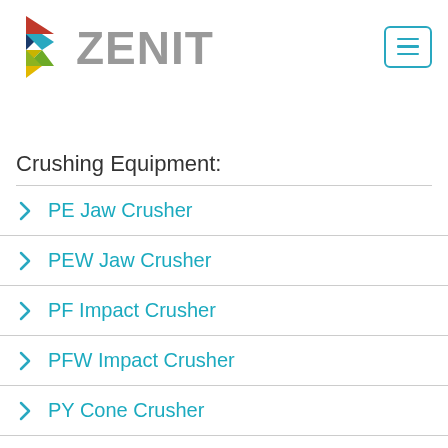[Figure (logo): Zenit company logo with colorful triangular geometric shape on left and gray ZENIT text on right, plus a teal hamburger menu button in top right corner]
Crushing Equipment:
PE Jaw Crusher
PEW Jaw Crusher
PF Impact Crusher
PFW Impact Crusher
PY Cone Crusher